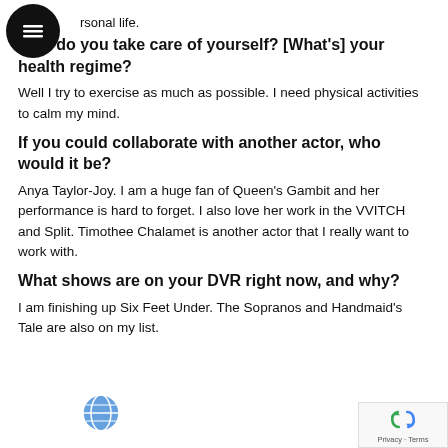personal life.
How do you take care of yourself? [What's] your health regime?
Well I try to exercise as much as possible. I need physical activities to calm my mind.
If you could collaborate with another actor, who would it be?
Anya Taylor-Joy. I am a huge fan of Queen's Gambit and her performance is hard to forget. I also love her work in the VVITCH and Split. Timothee Chalamet is another actor that I really want to work with.
What shows are on your DVR right now, and why?
I am finishing up Six Feet Under. The Sopranos and Handmaid's Tale are also on my list.